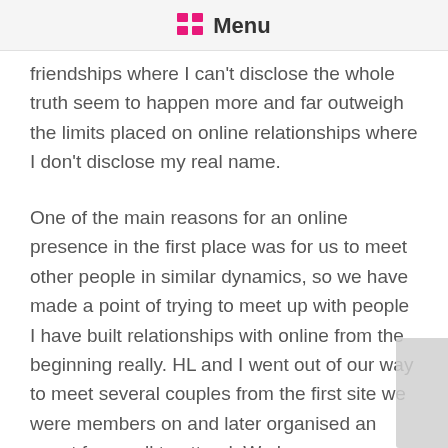Menu
friendships where I can't disclose the whole truth seem to happen more and far outweigh the limits placed on online relationships where I don't disclose my real name.
One of the main reasons for an online presence in the first place was for us to meet other people in similar dynamics, so we have made a point of trying to meet up with people I have built relationships with online from the beginning really. HL and I went out of our way to meet several couples from the first site we were members on and later organised an event for us all to attend. We have subsequently had people to stay with us and our family, so I don't really feel that there are too many limits to where it can go